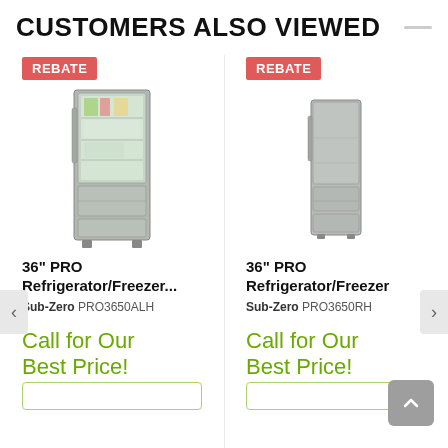CUSTOMERS ALSO VIEWED
[Figure (photo): Sub-Zero PRO3650ALH glass-door refrigerator/freezer with REBATE badge]
36" PRO Refrigerator/Freezer...
Sub-Zero PRO3650ALH
Call for Our Best Price!
[Figure (photo): Sub-Zero PRO3650RH solid stainless-door refrigerator/freezer with REBATE badge]
36" PRO Refrigerator/Freezer
Sub-Zero PRO3650RH
Call for Our Best Price!